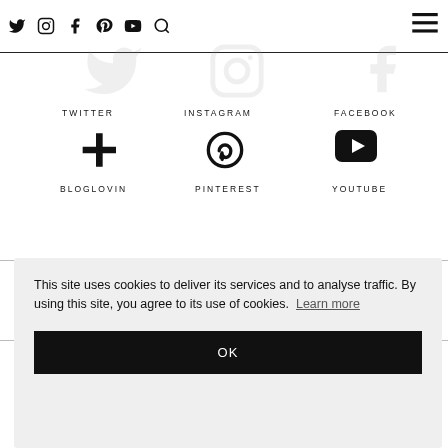Twitter, Instagram, Facebook, Pinterest, YouTube, Search icons, Hamburger menu
TWITTER
INSTAGRAM
FACEBOOK
BLOGLOVIN
PINTEREST
YOUTUBE
This site uses cookies to deliver its services and to analyse traffic. By using this site, you agree to its use of cookies. Learn more
OK